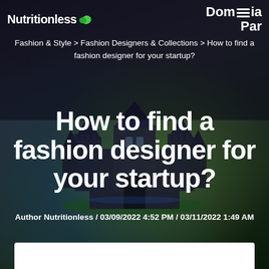Nutritionless [logo] / Domain Par[tner]
Fashion & Style > Fashion Designers & Collections > How to find a fashion designer for your startup?
How to find a fashion designer for your startup?
Author Nutritionless / 03/09/2022 4:52 PM / 03/11/2022 1:49 AM
[Figure (screenshot): Dark background with a 3D rendered castle/building silhouette at bottom, serving as a website hero banner background image]